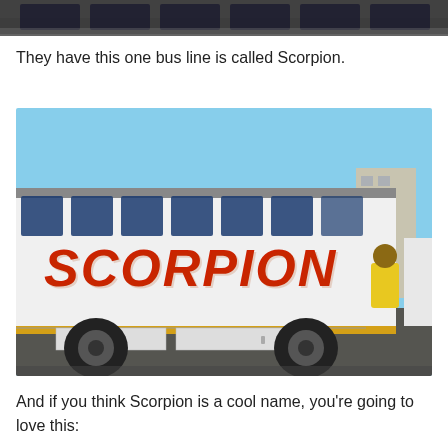[Figure (photo): Partial photo of a bus or vehicle, darkened, cropped at top of page]
They have this one bus line is called Scorpion.
[Figure (photo): Photo of a white bus with 'SCORPION' written in large red stylized letters on its side. Blue tinted windows on top. A person in yellow is visible near the rear of the bus. Buildings visible in background on a clear blue-sky day.]
And if you think Scorpion is a cool name, you're going to love this: